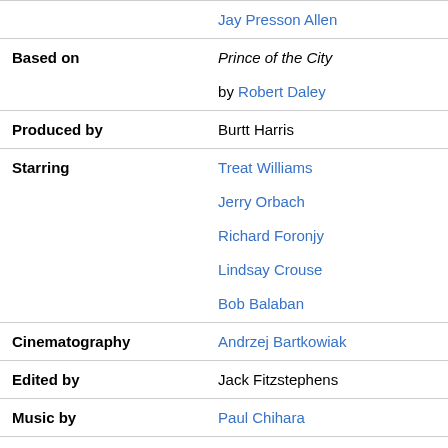|  | Jay Presson Allen |
| Based on | Prince of the City
by Robert Daley |
| Produced by | Burtt Harris |
| Starring | Treat Williams
Jerry Orbach
Richard Foronjy
Lindsay Crouse
Bob Balaban |
| Cinematography | Andrzej Bartkowiak |
| Edited by | Jack Fitzstephens |
| Music by | Paul Chihara |
| Production company | Orion Pictures |